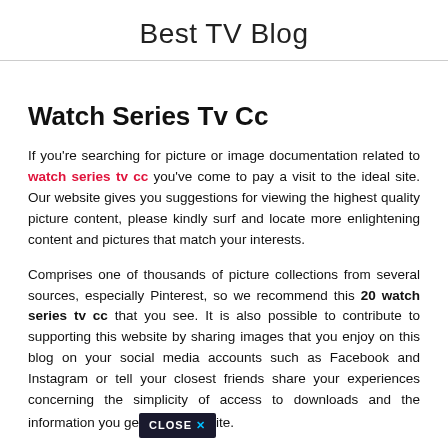Best TV Blog
Watch Series Tv Cc
If you're searching for picture or image documentation related to watch series tv cc you've come to pay a visit to the ideal site. Our website gives you suggestions for viewing the highest quality picture content, please kindly surf and locate more enlightening content and pictures that match your interests.
Comprises one of thousands of picture collections from several sources, especially Pinterest, so we recommend this 20 watch series tv cc that you see. It is also possible to contribute to supporting this website by sharing images that you enjoy on this blog on your social media accounts such as Facebook and Instagram or tell your closest friends share your experiences concerning the simplicity of access to downloads and the information you ge [CLOSE X] ite.